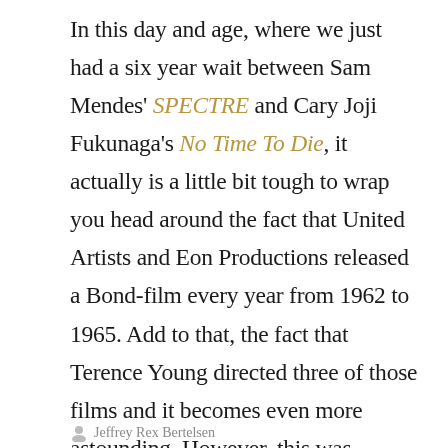In this day and age, where we just had a six year wait between Sam Mendes' SPECTRE and Cary Joji Fukunaga's No Time To Die, it actually is a little bit tough to wrap you head around the fact that United Artists and Eon Productions released a Bond-film every year from 1962 to 1965. Add to that, the fact that Terence Young directed three of those films and it becomes even more astounding. However, this was actually Young's final Bond-film, and that occasion was marked by the fact that the budget was much, much bigger than when Young introduced audiences to the character.
Continue reading
Jeffrey Rex Bertelsen